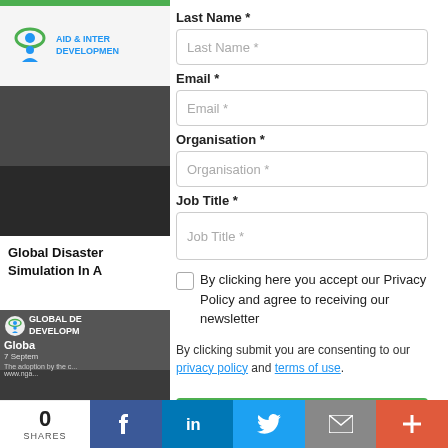[Figure (logo): Aid & International Development Forum logo with green/blue eye icon]
[Figure (photo): Dark image with white italic text reading SIMULA]
Global Disaster Simulation In A
[Figure (photo): Second article image showing a person holding a phone, with Aid & International Development Forum logo overlay and text Global, 7 September]
Last Name *
Last Name *
Email *
Email *
Organisation *
Organisation *
Job Title *
Job Title *
By clicking here you accept our Privacy Policy and agree to receiving our newsletter
By clicking submit you are consenting to our privacy policy and terms of use.
0 SHARES
f in Twitter email +